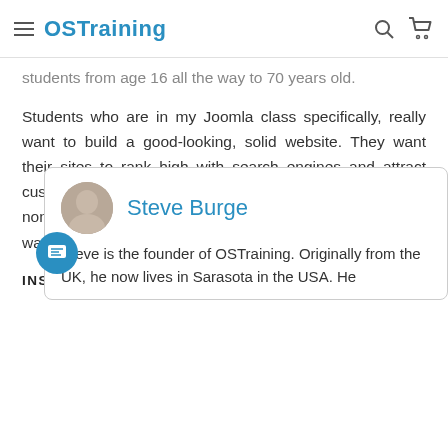OSTraining
students from age 16 all the way to 70 years old.
Students who are in my Joomla class specifically, really want to build a good-looking, solid website. They want their sites to rank high with search engines and attract customers. They want to be able to hand off the site to non-technical folks for site updates. And they all seem to want to post pictures on their sites.
INSTRUCTOR
[Figure (photo): Circular avatar photo of Steve Burge, a man with short hair]
Steve Burge
Steve is the founder of OSTraining. Originally from the UK, he now lives in Sarasota in the USA. He